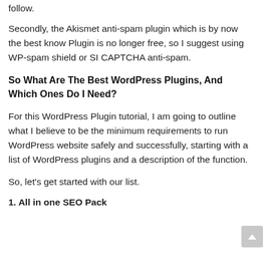follow.
Secondly, the Akismet anti-spam plugin which is by now the best know Plugin is no longer free, so I suggest using WP-spam shield or SI CAPTCHA anti-spam.
So What Are The Best WordPress Plugins, And Which Ones Do I Need?
For this WordPress Plugin tutorial, I am going to outline what I believe to be the minimum requirements to run WordPress website safely and successfully, starting with a list of WordPress plugins and a description of the function.
So, let's get started with our list.
1. All in one SEO Pack